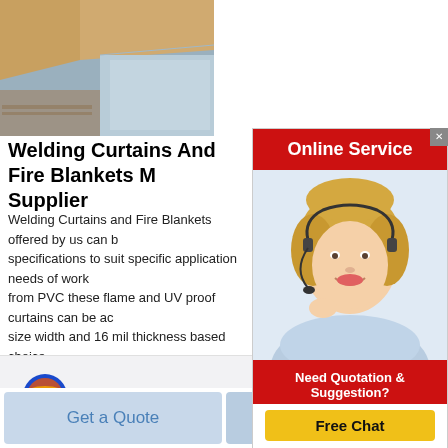[Figure (photo): Photo of welding curtains or fire blankets material, brown/tan colored sheets with metallic silver/foil material]
Welding Curtains And Fire Blankets M Supplier
Welding Curtains and Fire Blankets offered by us can be made in specifications to suit specific application needs of work from PVC these flame and UV proof curtains can be ac size width and 16 mil thickness based choice
[Figure (photo): Online Service advertisement panel with red header, customer service agent woman with headset, and Free Chat button]
[Figure (photo): Product photo showing three egg-shaped containers filled with gray powder material, with Rongsheng logo in top left]
Get a Quote
Chat Now